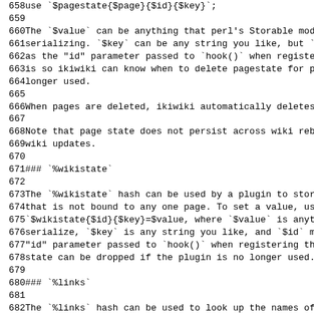658  use `$pagestate{$page}{$id}{$key}`;
659
660  The `$value` can be anything that perl's Storable module is capable of serializing. `$key` can be any string you like, but `$i as the "id" parameter passed to `hook()` when registering is so ikiwiki can know when to delete pagestate for plu longer used.
665
666  When pages are deleted, ikiwiki automatically deletes t
667
668  Note that page state does not persist across wiki rebu wiki updates.
670
671  ### `%wikistate`
672
673  The `%wikistate` hash can be used by a plugin to store that is not bound to any one page. To set a value, use `$wikistate{$id}{$key}=$value, where `$value` is anythi serialize, `$key` is any string you like, and `$id` mus "id" parameter passed to `hook()` when registering the state can be dropped if the plugin is no longer used.
679
680  ### `%links`
681
682  The `%links` hash can be used to look up the names of e a page links to. The name of the page is the key; the v reference. Do not modify this hash directly; call `add_
685
686       $links{"foo"} = ["bar", "baz"];
687
688  ### `%typedlinks`
689
690  The `%typedlinks` hash records links of specific types
### `%wikistate`
### `%links`
### `%typedlinks`